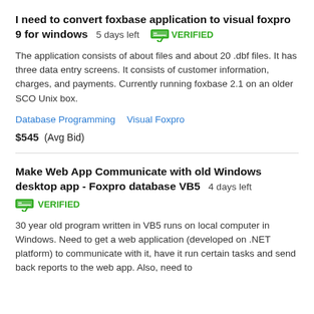I need to convert foxbase application to visual foxpro 9 for windows  5 days left  VERIFIED
The application consists of about files and about 20 .dbf files. It has three data entry screens. It consists of customer information, charges, and payments. Currently running foxbase 2.1 on an older SCO Unix box.
Database Programming   Visual Foxpro
$545  (Avg Bid)
Make Web App Communicate with old Windows desktop app - Foxpro database VB5  4 days left  VERIFIED
30 year old program written in VB5 runs on local computer in Windows. Need to get a web application (developed on .NET platform) to communicate with it, have it run certain tasks and send back reports to the web app. Also, need to